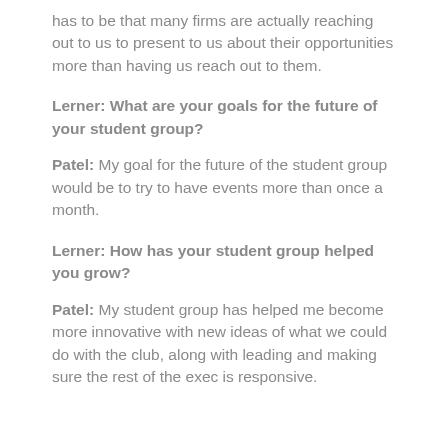has to be that many firms are actually reaching out to us to present to us about their opportunities more than having us reach out to them.
Lerner: What are your goals for the future of your student group?
Patel: My goal for the future of the student group would be to try to have events more than once a month.
Lerner: How has your student group helped you grow?
Patel: My student group has helped me become more innovative with new ideas of what we could do with the club, along with leading and making sure the rest of the exec is responsive.